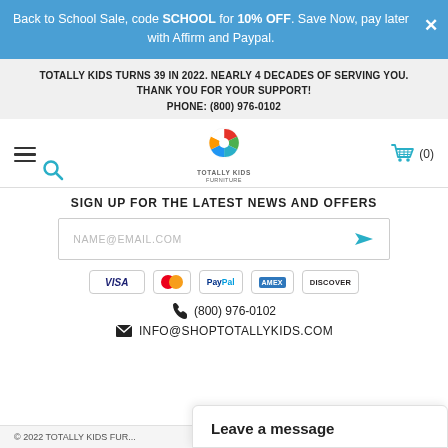Back to School Sale, code SCHOOL for 10% OFF. Save Now, pay later with Affirm and Paypal.
TOTALLY KIDS TURNS 39 IN 2022. NEARLY 4 DECADES OF SERVING YOU. THANK YOU FOR YOUR SUPPORT! PHONE: (800) 976-0102
[Figure (logo): Totally Kids Furniture logo — colorful circular icon with text TOTALLY KIDS FURNITURE below]
SIGN UP FOR THE LATEST NEWS AND OFFERS
NAME@EMAIL.COM
[Figure (infographic): Payment method icons: VISA, Mastercard, PayPal, American Express, Discover]
(800) 976-0102
INFO@SHOPTOTALLYKIDS.COM
© 2022 TOTALLY KIDS FUR...
Leave a message